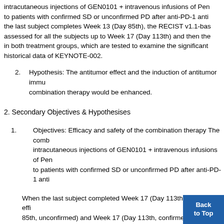intracutaneous injections of GEN0101 + intravenous infusions of Pen to patients with confirmed SD or unconfirmed PD after anti-PD-1 anti the last subject completes Week 13 (Day 85th), the RECIST v1.1-bas assessed for all the subjects up to Week 17 (Day 113th) and then the in both treatment groups, which are tested to examine the significant historical data of KEYNOTE-002.
2. Hypothesis: The antitumor effect and the induction of antitumor immu combination therapy would be enhanced.
2. Secondary Objectives & Hypothesises
1. Objectives: Efficacy and safety of the combination therapy The comb intracutaneous injections of GEN0101 + intravenous infusions of Pen to patients with confirmed SD or unconfirmed PD after anti-PD-1 anti
When the last subject completed Week 17 (Day 113th), antitumor eff 85th, unconfirmed) and Week 17 (Day 113th, confirmed) is assessed irRC, and irRECIST for all subjects and then the ORR is calculated. I individual tumor sizes in Week 13 (Day 85th, unconfirmed) and Weel confirmed) are measured, and then percent changes in t shrinkage or growth) are calculated. In each subject, the f immunity in Week 13 (Day 85th) is investigated with the i peripheral blood.